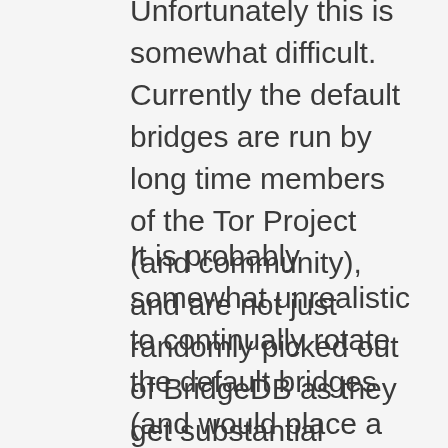Unfortunately this is somewhat difficult. Currently the default bridges are run by long time members of the Tor Project (and community), and are not just randomly picked out of BridgeDB as they get substantial amounts of traffic.
It is probably somewhat unrealistic to continually rotate the default bridges (and would place a considerable burden on the administrators), when it is trivial for the GFW people (or any other censor for that matter) to pull the list of default bridges out of the bundle's configuration each time a